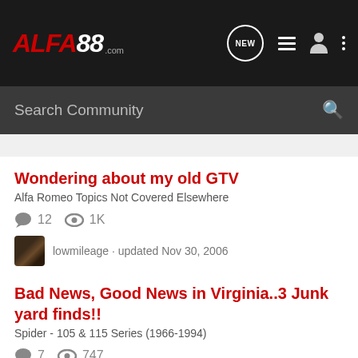[Figure (screenshot): ALFA88.com website header with logo, navigation icons (NEW chat bubble, list, person, dots), and a Search Community search bar on dark background]
Wondering about my old GTV
Alfa Romeo Topics Not Covered Elsewhere
12  1K
lowmileage · updated Nov 30, 2006
Bad News, Good News in Virginia..3 Junk yard finds!!
Spider - 105 & 115 Series (1966-1994)
7  747
azALFAowl · updated Apr 2, 2019